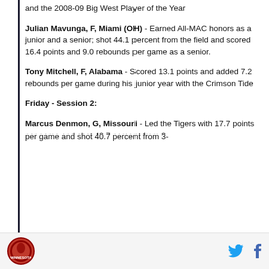and the 2008-09 Big West Player of the Year
Julian Mavunga, F, Miami (OH) - Earned All-MAC honors as a junior and a senior; shot 44.1 percent from the field and scored 16.4 points and 9.0 rebounds per game as a senior.
Tony Mitchell, F, Alabama - Scored 13.1 points and added 7.2 rebounds per game during his junior year with the Crimson Tide
Friday - Session 2:
Marcus Denmon, G, Missouri - Led the Tigers with 17.7 points per game and shot 40.7 percent from 3-